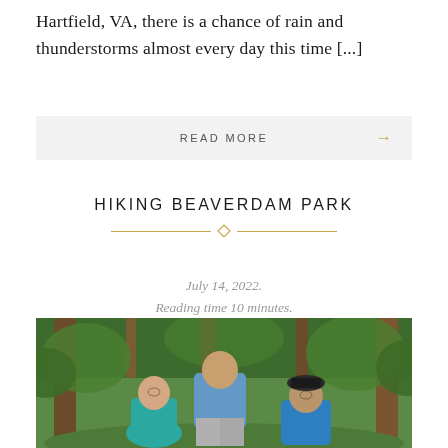Hartfield, VA, there is a chance of rain and thunderstorms almost every day this time [...]
READ MORE →
HIKING BEAVERDAM PARK
July 14, 2022.
Reading time 10 minutes.
[Figure (photo): Three hikers standing in a lush green forest with tall trees. A woman in teal on the left, a tall man in blue in the center, and a person in blue on the right wearing a cap.]